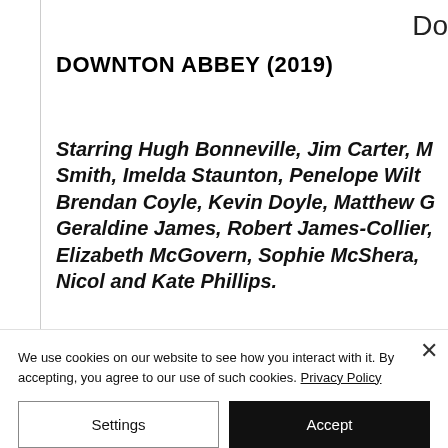Do
DOWNTON ABBEY (2019)
Starring Hugh Bonneville, Jim Carter, M Smith, Imelda Staunton, Penelope Wilt Brendan Coyle, Kevin Doyle, Matthew G Geraldine James, Robert James-Collier, Elizabeth McGovern, Sophie McShera, Nicol and Kate Phillips.
We use cookies on our website to see how you interact with it. By accepting, you agree to our use of such cookies. Privacy Policy
Settings
Accept